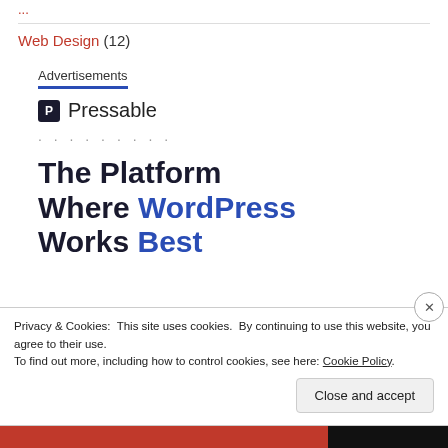Web Design (12)
Advertisements
[Figure (logo): Pressable logo with P icon and brand name]
The Platform Where WordPress Works Best
Privacy & Cookies: This site uses cookies. By continuing to use this website, you agree to their use. To find out more, including how to control cookies, see here: Cookie Policy
Close and accept